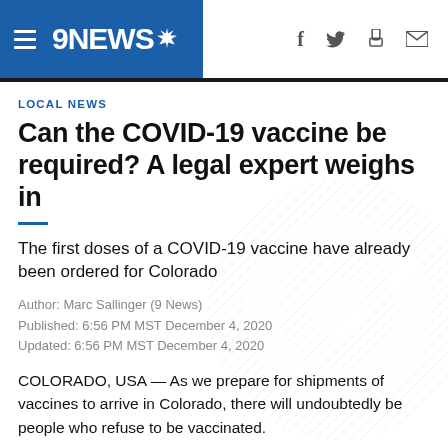9NEWS
LOCAL NEWS
Can the COVID-19 vaccine be required? A legal expert weighs in
The first doses of a COVID-19 vaccine have already been ordered for Colorado
Author: Marc Sallinger (9 News)
Published: 6:56 PM MST December 4, 2020
Updated: 6:56 PM MST December 4, 2020
COLORADO, USA — As we prepare for shipments of vaccines to arrive in Colorado, there will undoubtedly be people who refuse to be vaccinated.